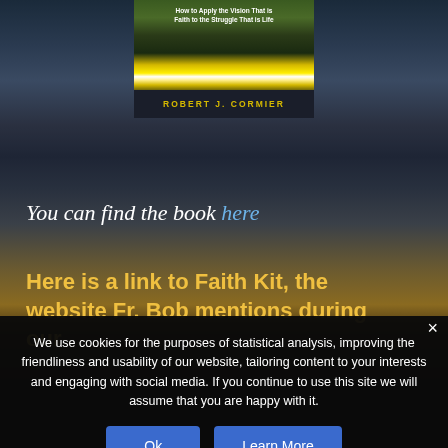[Figure (illustration): Book cover for a religious/faith book by Robert J. Cormier with subtitle 'How to Apply the Vision That is Faith to the Struggle That is Life', shown against a dark dramatic sky background with a sunset and silhouette of a person sitting by the sea]
You can find the book here
Here is a link to Faith Kit, the website Fr. Bob mentions during our
We use cookies for the purposes of statistical analysis, improving the friendliness and usability of our website, tailoring content to your interests and engaging with social media. If you continue to use this site we will assume that you are happy with it.
Ok
Learn More